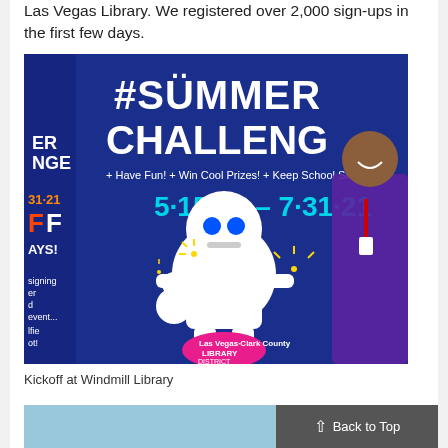Las Vegas Library. We registered over 2,000 sign-ups in the first few days.
[Figure (photo): Man in purple shirt posing next to a #Summer Challenge banner at Windmill Library. The banner shows robot characters and reads '#SUMMER CHALLENGE + Have Fun! + Win Cool Prizes! + Keep School Ski... 5-15-21 – 7-31-21'. Las Vegas-Clark County Library District logo visible at bottom.]
Kickoff at Windmill Library
[Figure (photo): Partial view of another photo at bottom of page, showing blue tones, partially cut off.]
Back to Top